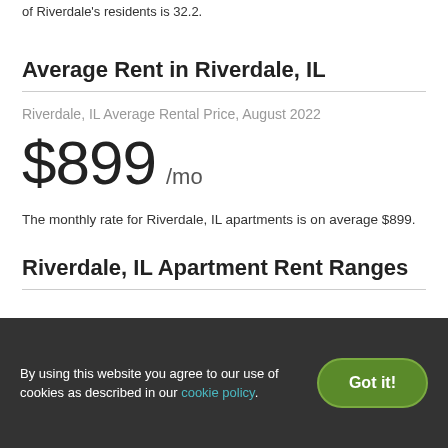of Riverdale's residents is 32.2.
Average Rent in Riverdale, IL
Riverdale, IL Average Rental Price, August 2022
$899 /mo
The monthly rate for Riverdale, IL apartments is on average $899.
Riverdale, IL Apartment Rent Ranges
By using this website you agree to our use of cookies as described in our cookie policy.